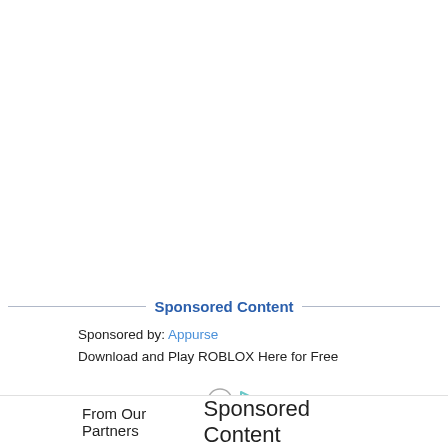Sponsored Content
Sponsored by: Appurse
Download and Play ROBLOX Here for Free
[Figure (logo): by [icon circle smiley] [icon play button arrow]]
From Our Partners    Sponsored Content